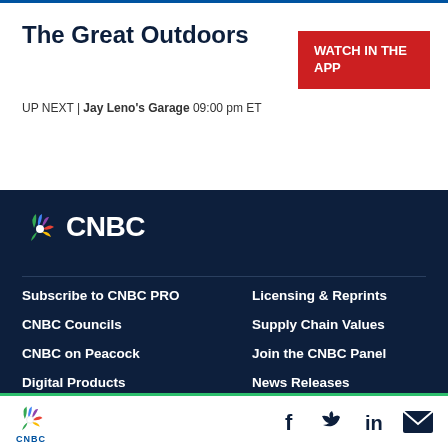The Great Outdoors
[Figure (logo): WATCH IN THE APP button (red background)]
UP NEXT | Jay Leno's Garage 09:00 pm ET
[Figure (logo): CNBC logo with NBC peacock icon on dark navy background]
Subscribe to CNBC PRO
Licensing & Reprints
CNBC Councils
Supply Chain Values
CNBC on Peacock
Join the CNBC Panel
Digital Products
News Releases
Closed Captioning
Corrections
CNBC logo with social media icons: Facebook, Twitter, LinkedIn, Email